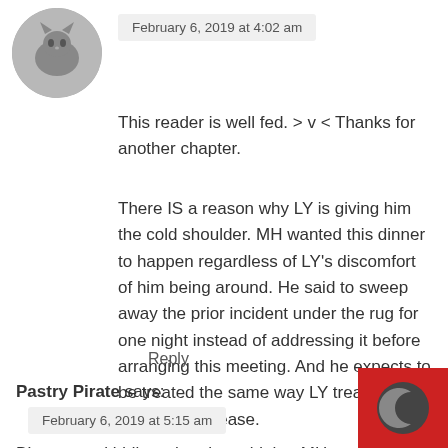[Figure (photo): Small circular avatar image of a cat, gray colored]
February 6, 2019 at 4:02 am
This reader is well fed. > v < Thanks for another chapter.
There IS a reason why LY is giving him the cold shoulder. MH wanted this dinner to happen regardless of LY's discomfort of him being around. He said to sweep away the prior incident under the rug for one night instead of addressing it before arranging this meeting. And he expects to be treated the same way LY treated him as before? Please.
Reply
Pastry Pirate says:
February 6, 2019 at 5:15 am
BL was not kidding when he said that MH treated